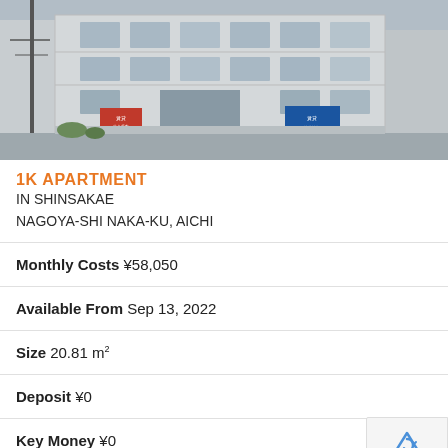[Figure (photo): Exterior photo of a multi-story apartment building in Japan, with red and blue real estate signs in front, street-level view.]
1K APARTMENT IN SHINSAKAE NAGOYA-SHI NAKA-KU, AICHI
Monthly Costs ¥58,050
Available From Sep 13, 2022
Size 20.81 m²
Deposit ¥0
Key Money ¥0
Floor 1 / 4F